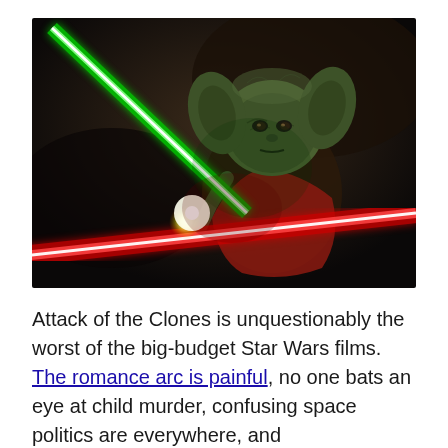[Figure (photo): Movie still from Star Wars showing Yoda fighting with a green lightsaber crossed with a red lightsaber, bright light flash at the intersection point. Dark cinematic background.]
Attack of the Clones is unquestionably the worst of the big-budget Star Wars films. The romance arc is painful, no one bats an eye at child murder, confusing space politics are everywhere, and